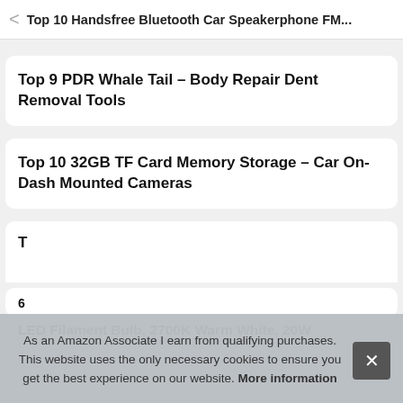Top 10 Handsfree Bluetooth Car Speakerphone FM...
Top 9 PDR Whale Tail – Body Repair Dent Removal Tools
Top 10 32GB TF Card Memory Storage – Car On-Dash Mounted Cameras
T... P...
As an Amazon Associate I earn from qualifying purchases. This website uses the only necessary cookies to ensure you get the best experience on our website. More information
6
LED Filament Bulb, 2700K Warm White, 20W